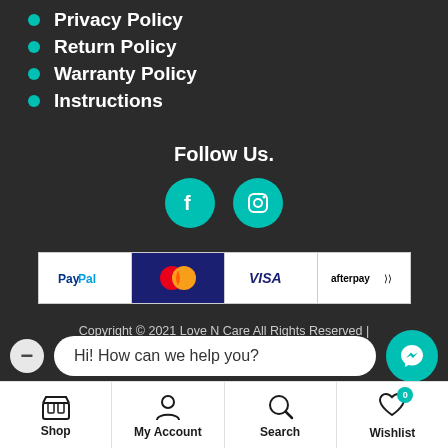Privacy Policy
Return Policy
Warranty Policy
Instructions
Follow Us.
[Figure (infographic): Facebook and Instagram social media icons as teal circular buttons]
[Figure (infographic): Payment method badges: PayPal, MasterCard, VISA, Afterpay]
Copyright © 2021 Love N Care All Rights Reserved | Site By All In IT Solutions
Hi! How can we help you?
[Figure (infographic): Bottom navigation bar with Shop, My Account, Search, Wishlist icons]